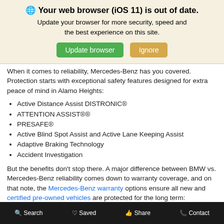[Figure (screenshot): Browser update notification banner with globe icon, bold title 'Your web browser (iOS 11) is out of date.', subtitle text, and two buttons: 'Update browser' (green) and 'Ignore' (tan/gold).]
When it comes to reliability, Mercedes-Benz has you covered. Protection starts with exceptional safety features designed for extra peace of mind in Alamo Heights:
Active Distance Assist DISTRONIC®
ATTENTION ASSIST®®
PRESAFE®
Active Blind Spot Assist and Active Lane Keeping Assist
Adaptive Braking Technology
Accident Investigation
But the benefits don't stop there. A major difference between BMW vs. Mercedes-Benz reliability comes down to warranty coverage, and on that note, the Mercedes-Benz warranty options ensure all new and certified pre-owned vehicles are protected for the long term:
New Mercedes-Benz
Limited Warranty – 48 months / 50,000
Search   Saved   Share   Contact